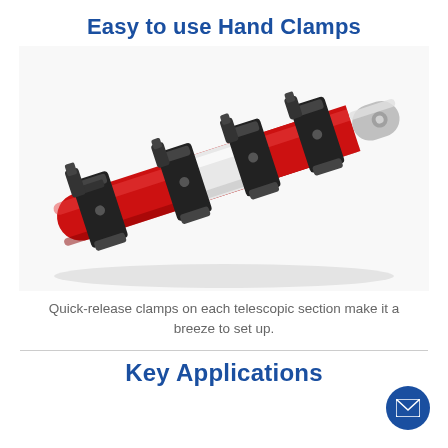Easy to use Hand Clamps
[Figure (photo): Close-up photo of quick-release hand clamps on a red telescopic pole. Multiple black clamp mechanisms are visible on sections of red and white tubing, with a silver threaded end.]
Quick-release clamps on each telescopic section make it a breeze to set up.
Key Applications